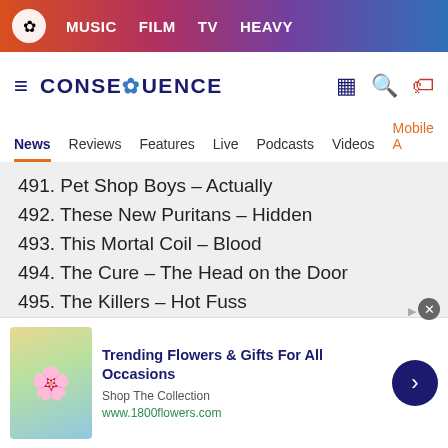MUSIC  FILM  TV  HEAVY
CONSEQUENCE
News  Reviews  Features  Live  Podcasts  Videos  Mobile A
491. Pet Shop Boys – Actually
492. These New Puritans – Hidden
493. This Mortal Coil – Blood
494. The Cure – The Head on the Door
495. The Killers – Hot Fuss
496. Girls – Album
497. Daft Punk – Random Access Memories
498. Lou Reed – Berlin
499. Belly – Star
500. OutKast – Stankonia
[Figure (photo): Advertisement: Trending Flowers & Gifts For All Occasions - 1800flowers.com. Shows woman with flowers.]